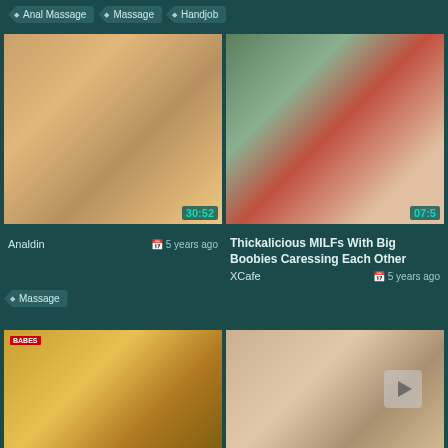Anal Massage
Massage
Handjob
[Figure (photo): Massage video thumbnail with timer 30:52]
[Figure (photo): Outdoor massage video thumbnail with timer 07:...]
Analdin   5 years ago
Thickalicious MILFs With Big Boobies Caressing Each Other
XCafe   5 years ago
Massage
[Figure (photo): Oil massage video thumbnail with BABES badge]
[Figure (photo): Close-up woman face video thumbnail with play button overlay]